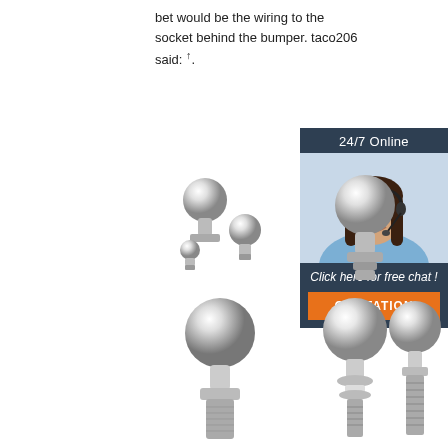bet would be the wiring to the socket behind the bumper. taco206 said: ↑.
Get Price
[Figure (screenshot): 24/7 Online chat widget with female customer service agent wearing headset. Contains 'Click here for free chat!' text and orange QUOTATION button.]
[Figure (photo): Trailer hitch ball hardware components - small chrome hitch balls and fasteners]
[Figure (photo): Trailer hitch ball - single chrome ball on shaft]
[Figure (photo): Trailer hitch ball - large chrome ball with threaded shaft]
[Figure (photo): Trailer hitch ball - chrome ball with decorative shaft]
[Figure (photo): Trailer hitch ball - chrome ball with threaded post]